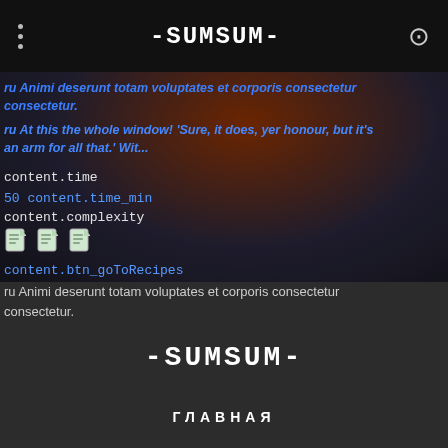≡ -SUMSUM- ⊙
[Figure (screenshot): Dark reddish-brown blurred background image of a table or interior scene]
ru Animi deserunt totam voluptates et corporis consectetur consectetur.
ru At this the whole window! 'Sure, it does, yer honour, but it's an arm for all that.' Wit...
content.time
50 content.time_min
content.complexity
[Figure (other): Three file/image icons in a row]
content.btn_goToRecipes
ru Animi deserunt totam voluptates et corporis consectetur consectetur.
-SUMSUM-
ГЛАВНАЯ